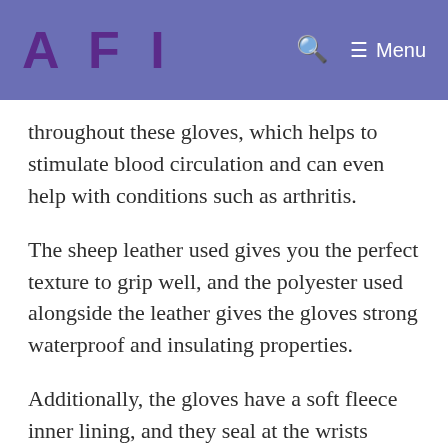AFI  [search icon]  ≡ Menu
throughout these gloves, which helps to stimulate blood circulation and can even help with conditions such as arthritis.
The sheep leather used gives you the perfect texture to grip well, and the polyester used alongside the leather gives the gloves strong waterproof and insulating properties.
Additionally, the gloves have a soft fleece inner lining, and they seal at the wrists using a strong velcro.